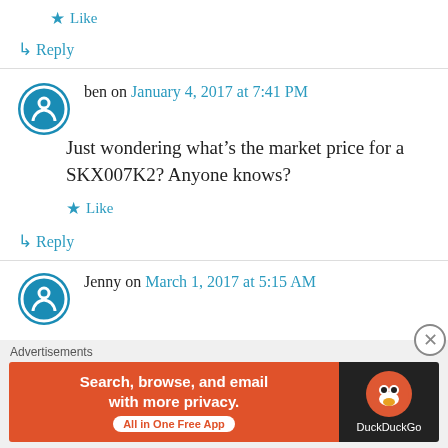★ Like
↳ Reply
ben on January 4, 2017 at 7:41 PM
Just wondering what's the market price for a SKX007K2? Anyone knows?
★ Like
↳ Reply
Jenny on March 1, 2017 at 5:15 AM
Advertisements
[Figure (screenshot): DuckDuckGo advertisement banner: orange left side with text 'Search, browse, and email with more privacy.' and 'All in One Free App', dark right side with DuckDuckGo logo]